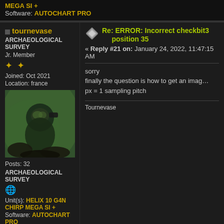MEGA SI +
Software: AUTOCHART PRO
tournevase
ARCHAEOLOGICAL SURVEY
Jr. Member
Joined: Oct 2021
Location: france
Posts: 32
ARCHAEOLOGICAL SURVEY
Unit(s): HELIX 10 G4N CHIRP MEGA SI +
Software: AUTOCHART PRO
Re: ERROR: Incorrect checkbit3 position 35
« Reply #21 on: January 24, 2022, 11:47:15 AM
sorry
finally the question is how to get an image where px = 1 sampling pitch
Tournevase
Rüdiger
Sr. Member
Re: ERROR: Incorrect checkbit3 position 35
« Reply #22 on: January 26, 2022, 03:39:46 AM